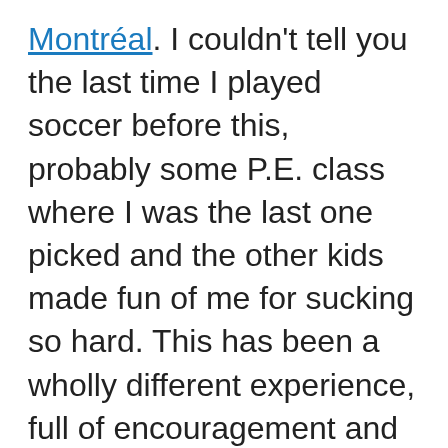Montréal. I couldn't tell you the last time I played soccer before this, probably some P.E. class where I was the last one picked and the other kids made fun of me for sucking so hard. This has been a wholly different experience, full of encouragement and support. I am gradually getting better, and getting to know the members of my team better, and they are a great bunch of people. I'm having a blast